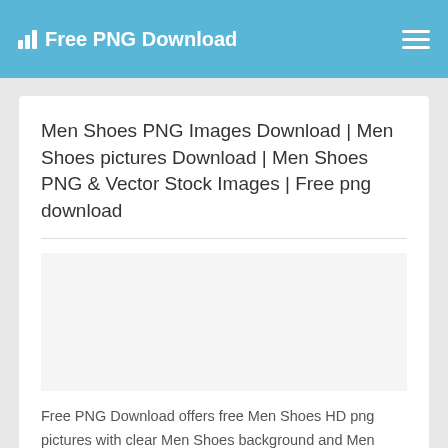Free PNG Download
Men Shoes PNG Images Download | Men Shoes pictures Download | Men Shoes PNG & Vector Stock Images | Free png download
[Figure (other): Advertisement or placeholder banner area]
Free PNG Download offers free Men Shoes HD png pictures with clear Men Shoes background and Men Shoes vector files. With these png files, you'll be able to use them as clipart, banner, ppt, and the other style functions. you'll be able to additionally transfer the newest trend Men Shoes png resources.